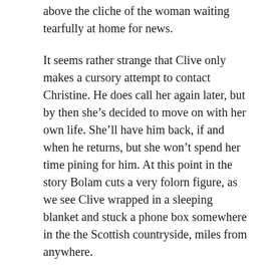above the cliche of the woman waiting tearfully at home for news.
It seems rather strange that Clive only makes a cursory attempt to contact Christine. He does call her again later, but by then she's decided to move on with her own life. She'll have him back, if and when he returns, but she won't spend her time pining for him. At this point in the story Bolam cuts a very folorn figure, as we see Clive wrapped in a sleeping blanket and stuck a phone box somewhere in the the Scottish countryside, miles from anywhere.
Jim Carter as DS Lawrence Pitman and Gwyneth Strong as WPC McMahon make an amusing double act. Carter spends his time with a